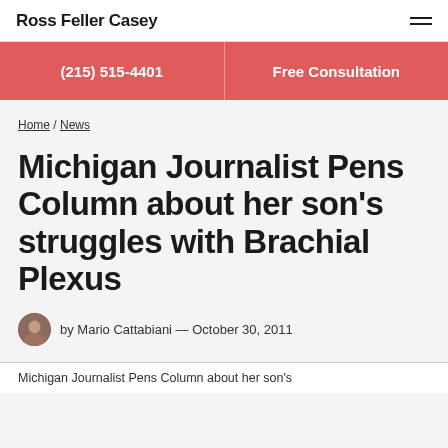Ross Feller Casey
(215) 515-4401
Free Consultation
Home / News
Michigan Journalist Pens Column about her son's struggles with Brachial Plexus
by Mario Cattabiani — October 30, 2011
Michigan Journalist Pens Column about her son's